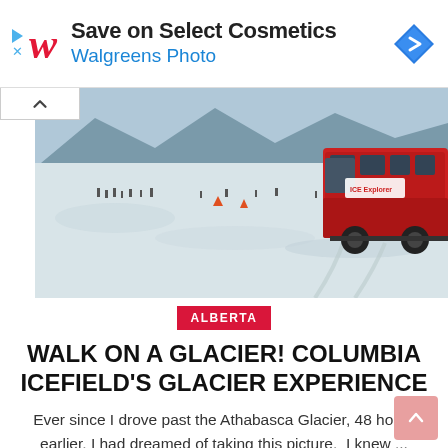[Figure (infographic): Walgreens advertisement banner: red cursive W logo, text 'Save on Select Cosmetics' and 'Walgreens Photo' in blue, blue diamond direction sign icon on the right]
[Figure (photo): Outdoor glacier scene with a large red snow coach vehicle on the right side, people walking on the glacier in the background, snowy and icy terrain, mountains in the distance]
ALBERTA
WALK ON A GLACIER! COLUMBIA ICEFIELD'S GLACIER EXPERIENCE
Ever since I drove past the Athabasca Glacier, 48 hours earlier, I had dreamed of taking this picture.  I knew ...
0